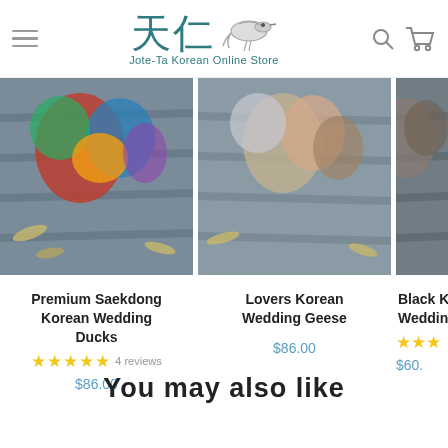Jote-Ta Korean Online Store
[Figure (photo): Product image of Premium Saekdong Korean Wedding Ducks on wooden surface with colorful fabric]
Premium Saekdong Korean Wedding Ducks
★★★★★ 4 reviews
$86.00
[Figure (photo): Product image of Lovers Korean Wedding Geese on wooden surface with fabric]
Lovers Korean Wedding Geese
$86.00
[Figure (photo): Partially visible product image of Black K... Wedding item on wooden surface]
Black K... Wedding...
★★★★★
$60...
You may also like